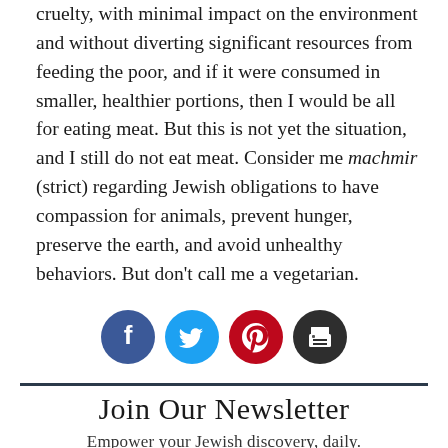cruelty, with minimal impact on the environment and without diverting significant resources from feeding the poor, and if it were consumed in smaller, healthier portions, then I would be all for eating meat. But this is not yet the situation, and I still do not eat meat. Consider me machmir (strict) regarding Jewish obligations to have compassion for animals, prevent hunger, preserve the earth, and avoid unhealthy behaviors. But don't call me a vegetarian.
[Figure (infographic): Row of four social sharing icons: Facebook (dark blue circle), Twitter (light blue circle), Pinterest (dark red circle), Print (dark charcoal circle)]
Join Our Newsletter
Empower your Jewish discovery, daily.